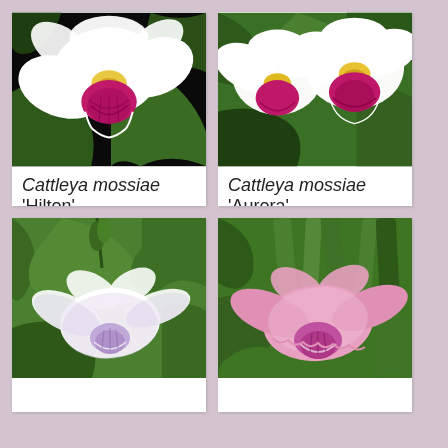[Figure (photo): Close-up of white Cattleya orchid flower with yellow and magenta/purple lip, dark background]
Cattleya mossiae 'Hilton'
Color: semi alba
Original from the wild
[Figure (photo): Multiple white Cattleya orchid flowers with yellow and magenta/purple lips, green foliage background]
Cattleya mossiae 'Aurora'
Color: semi alba
Original from the wild
[Figure (photo): Pale lavender/white Cattleya orchid with light purple petals, green foliage background]
[Figure (photo): Pink/mauve Cattleya orchid flower with ruffled petals, green foliage background]